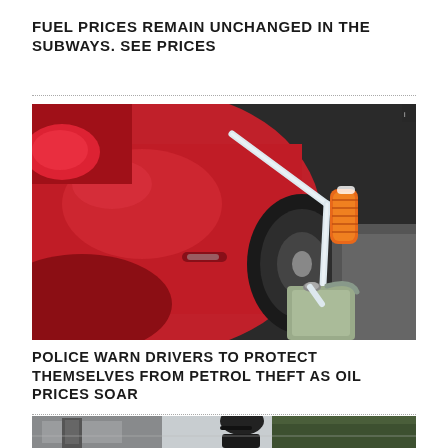FUEL PRICES REMAIN UNCHANGED IN THE SUBWAYS. SEE PRICES
[Figure (photo): Close-up of a red car with a siphon hose (clear tubing) and orange pump being used to siphon fuel from the gas tank into a plastic jerry can on the ground.]
POLICE WARN DRIVERS TO PROTECT THEMSELVES FROM PETROL THEFT AS OIL PRICES SOAR
[Figure (photo): Person wearing a black baseball cap and dark jacket standing at what appears to be a gas station in winter, with trees visible in the background.]